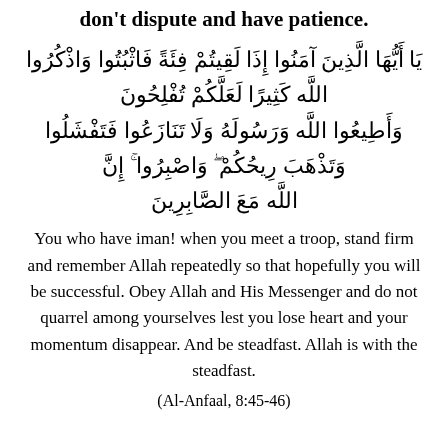don't dispute and have patience.
يَا أَيُّهَا الَّذِينَ آمَنُوا إِذَا لَقِيتُمْ فِئَةً فَاثْبُتُوا وَاذْكُرُوا اللَّه كَثِيرًا لَعَلَّكُمْ تُفْلِحُونَ
وَأَطِيعُوا اللَّه وَرَسُولَهُ وَلَا تَنَازَعُوا فَتَفْشَلُوا وَتَذْهَبَ رِيحُكُمْ ۖ وَاصْبِرُوا ۚ إِنَّ اللَّه مَعَ الصَّابِرِينَ
You who have iman! when you meet a troop, stand firm and remember Allah repeatedly so that hopefully you will be successful. Obey Allah and His Messenger and do not quarrel among yourselves lest you lose heart and your momentum disappear. And be steadfast. Allah is with the steadfast.
(Al-Anfaal, 8:45-46)